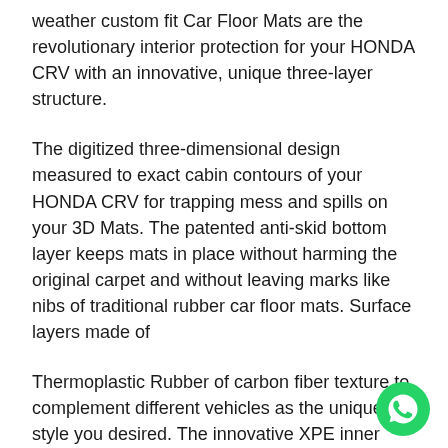weather custom fit Car Floor Mats are the revolutionary interior protection for your HONDA CRV with an innovative, unique three-layer structure.
The digitized three-dimensional design measured to exact cabin contours of your HONDA CRV for trapping mess and spills on your 3D Mats. The patented anti-skid bottom layer keeps mats in place without harming the original carpet and without leaving marks like nibs of traditional rubber car floor mats. Surface layers made of
Thermoplastic Rubber of carbon fiber texture to complement different vehicles as the unique style you desired. The innovative XPE inner layer minimizes foot fatigue and provides the sound barrier for a quieter ride, yet the material Is non-toxic and odorless. 3D KAGU all-weather custom fit car floor Mats give the style you
[Figure (logo): WhatsApp green circular button icon in bottom right corner]